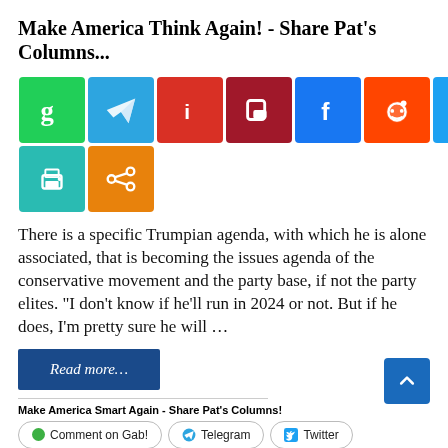Make America Think Again! - Share Pat's Columns...
[Figure (infographic): Row of social media sharing icon buttons: Gab (green), Telegram (blue), Instapaper (red), Parler (dark red), Facebook (blue), Reddit (orange-red), Twitter (light blue), WhatsApp (green), SMS (yellow-green), Link (gray), Email (green), Print (orange-red), then second row: Print (teal), Share (orange).]
There is a specific Trumpian agenda, with which he is alone associated, that is becoming the issues agenda of the conservative movement and the party base, if not the party elites. “I don’t know if he’ll run in 2024 or not. But if he does, I’m pretty sure he will …
Read more…
Make America Smart Again - Share Pat’s Columns!
Comment on Gab!   Telegram   Twitter   Facebook